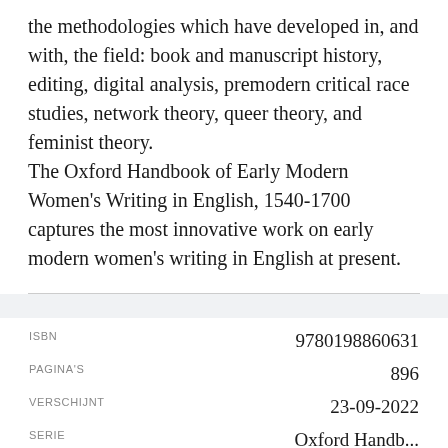the methodologies which have developed in, and with, the field: book and manuscript history, editing, digital analysis, premodern critical race studies, network theory, queer theory, and feminist theory. The Oxford Handbook of Early Modern Women's Writing in English, 1540-1700 captures the most innovative work on early modern women's writing in English at present.
| Field | Value |
| --- | --- |
| ISBN | 9780198860631 |
| PAGINA'S | 896 |
| VERSCHIJNT | 23-09-2022 |
| SERIE | Oxford Handb... |